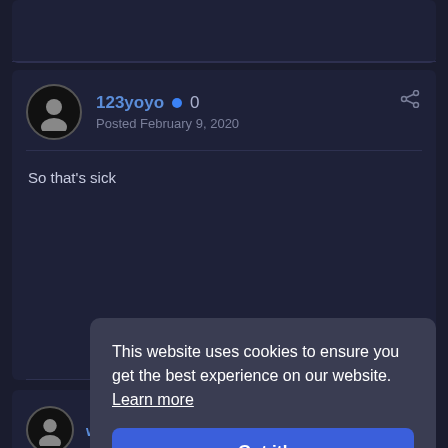[Figure (screenshot): Partial top post card, dark theme forum]
123yoyo  0
Posted February 9, 2020
So that's sick
[Figure (screenshot): Partial bottom post card showing avatar and truncated username 'woo']
This website uses cookies to ensure you get the best experience on our website.  Learn more
Got it!